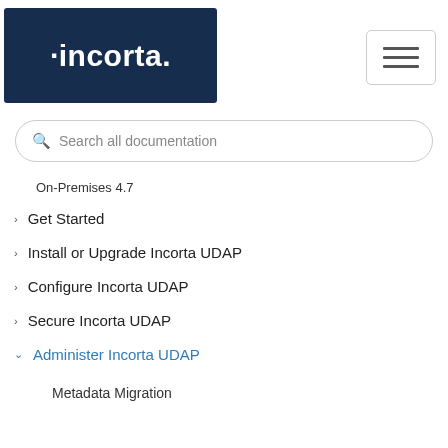[Figure (logo): Incorta logo on dark navy blue background]
[Figure (other): Hamburger menu button with three horizontal lines]
Search all documentation
On-Premises 4.7
Get Started
Install or Upgrade Incorta UDAP
Configure Incorta UDAP
Secure Incorta UDAP
Administer Incorta UDAP
Metadata Migration